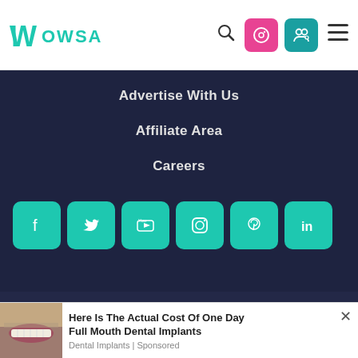Wowsa
Advertise With Us
Affiliate Area
Careers
[Figure (other): Social media icon buttons: Facebook, Twitter, YouTube, Instagram, Pinterest, LinkedIn — all teal/cyan square buttons]
Copyright © 2022 Open Water Swimming Association - openwaterswimming.com may earn commissions from qualifying purchases from Amazon.com and Sponsored Posts. Please see our Privacy Policy
[Figure (photo): Advertisement banner: close-up photo of a person's smile showing teeth, with text 'Here Is The Actual Cost Of One Day Full Mouth Dental Implants' and label 'Dental Implants | Sponsored']